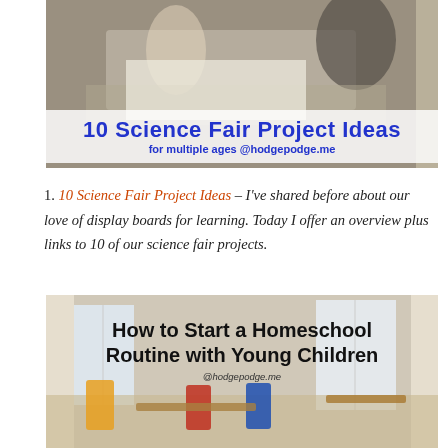[Figure (photo): Photo of a child doing a science project at a table, with an adult nearby. Overlaid text banner reads '10 Science Fair Project Ideas for multiple ages @hodgepodge.me' in bold blue on white semi-transparent background.]
1. 10 Science Fair Project Ideas – I've shared before about our love of display boards for learning. Today I offer an overview plus links to 10 of our science fair projects.
[Figure (photo): Photo of a young girl sitting at a small desk in a bright room, homeschooling setting. Overlaid bold black text reads 'How to Start a Homeschool Routine with Young Children' with '@hodgepodge.me' below.]